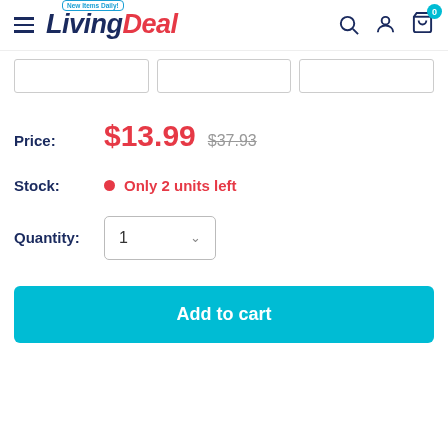[Figure (logo): LivingDeal logo with 'New Items Daily!' badge and navigation icons including search, user, and cart with 0 badge]
[Figure (other): Three small product thumbnail image boxes in a row]
Price: $13.99 $37.93
Stock: Only 2 units left
Quantity: 1
Add to cart